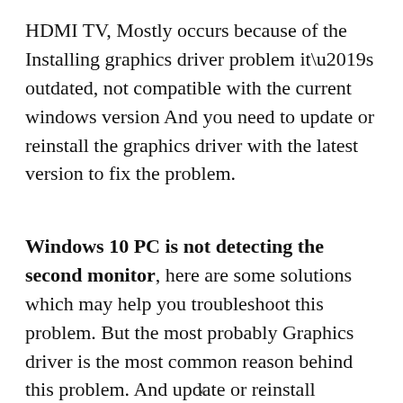HDMI TV, Mostly occurs because of the Installing graphics driver problem it’s outdated, not compatible with the current windows version And you need to update or reinstall the graphics driver with the latest version to fix the problem.
Windows 10 PC is not detecting the second monitor, here are some solutions which may help you troubleshoot this problem. But the most probably Graphics driver is the most common reason behind this problem. And update or reinstall
v